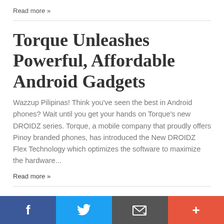Read more »
Torque Unleashes Powerful, Affordable Android Gadgets
Wazzup Pilipinas! Think you've seen the best in Android phones? Wait until you get your hands on Torque's new DROIDZ series. Torque, a mobile company that proudly offers Pinoy branded phones, has introduced the New DROIDZ Flex Technology which optimizes the software to maximize the hardware...
Read more »
On PCDSPO's Online
[Figure (infographic): Social sharing bar with four buttons: Facebook (dark blue, f icon), Twitter (light blue, bird icon), Email/share (dark gray, envelope icon), Plus/more (orange-red, + icon)]